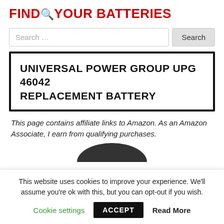FIND YOUR BATTERIES
Search ...
UNIVERSAL POWER GROUP UPG 46042 REPLACEMENT BATTERY
This page contains affiliate links to Amazon. As an Amazon Associate, I earn from qualifying purchases.
[Figure (photo): Partial top view of a round black battery product]
This website uses cookies to improve your experience. We'll assume you're ok with this, but you can opt-out if you wish.
Cookie settings  ACCEPT  Read More